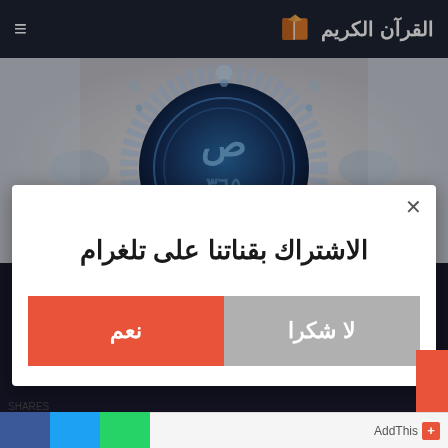القرآن الكريم
[Figure (illustration): Islamic geometric/calligraphic art with blue and white arabesque patterns and Arabic calligraphy in the center]
الاشتراك بقناتنا على تلغرام
نعم
لا شكرا
AddThis